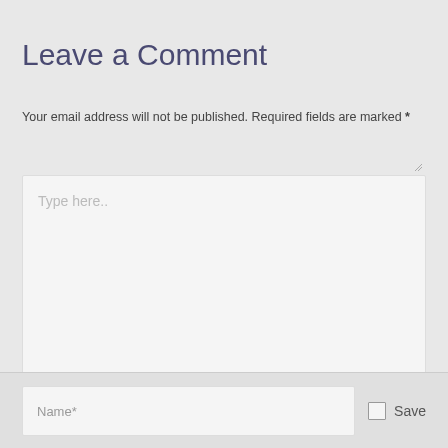Leave a Comment
Your email address will not be published. Required fields are marked *
[Figure (screenshot): Large text input area with placeholder text 'Type here..' and a resize handle in the bottom right corner]
Name*
Save